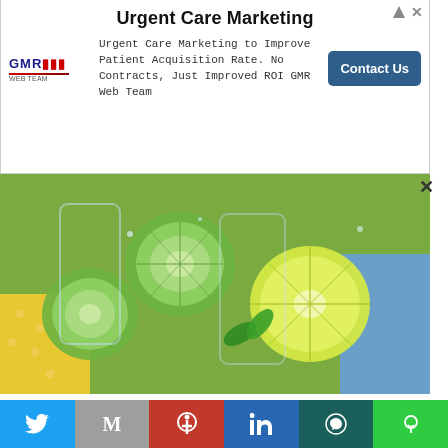[Figure (other): Advertisement banner for Urgent Care Marketing by GMR Web Team with Contact Us button]
[Figure (photo): Close-up photo of sliced cucumbers, lemons, and limes in water glasses on a yellow dotted cloth and blue surface]
HEALTH
6 ways water can influence your weight loss
Drinking water is the ‘holy grail’ of staying fit and healthy. Water makes up about…
2 months ago
FASHION
[Figure (infographic): Social media sharing bar with Twitter, Gmail, Pinterest, LinkedIn, WhatsApp, and Line buttons]